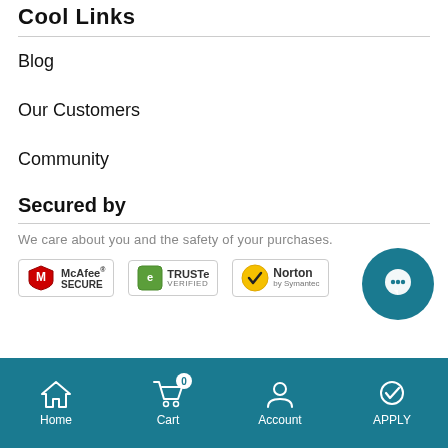Cool Links
Blog
Our Customers
Community
Secured by
We care about you and the safety of your purchases.
[Figure (logo): McAfee SECURE, TRUSTe Verified, and Norton by Symantec security badges]
Home   Cart 0   Account   APPLY